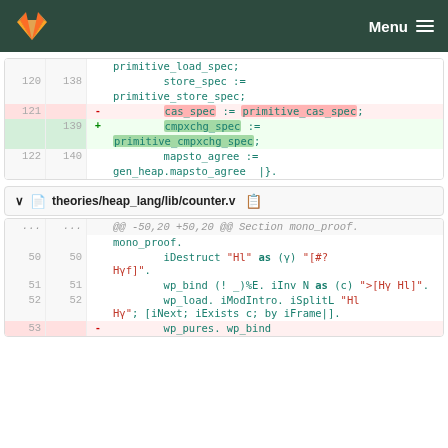GitLab Menu
| old | new | sign | code |
| --- | --- | --- | --- |
|  |  |  | primitive_load_spec; |
| 120 | 138 |  |     store_spec := |
|  |  |  | primitive_store_spec; |
| 121 |  | - |     cas_spec := primitive_cas_spec; |
|  | 139 | + |     cmpxchg_spec := |
|  |  |  | primitive_cmpxchg_spec; |
| 122 | 140 |  |     mapsto_agree := |
|  |  |  | gen_heap.mapsto_agree |}. |
theories/heap_lang/lib/counter.v
| old | new | sign | code |
| --- | --- | --- | --- |
| ... | ... |  | @@ -50,20 +50,20 @@ Section mono_proof. |
| 50 | 50 |  |     iDestruct "Hl" as (γ) "[#? HΥf]". |
| 51 | 51 |  |     wp_bind (! _)%E. iInv N as (c) ">[Hγ Hl]". |
| 52 | 52 |  |     wp_load. iModIntro. iSplitL "Hl HΥ"; [iNext; iExists c; by iFrame|]. |
| 53 |  | - |     wp_pures. wp_bind |